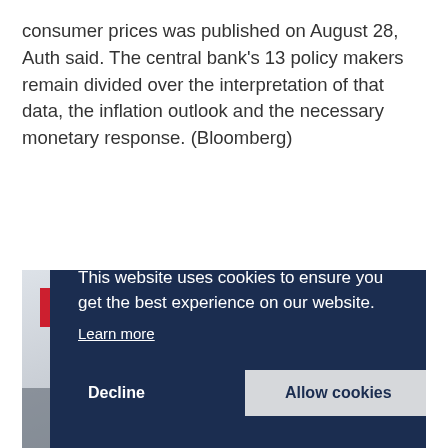consumer prices was published on August 28, Auth said. The central bank's 13 policy makers remain divided over the interpretation of that data, the inflation outlook and the necessary monetary response. (Bloomberg)
[Figure (photo): Background photo of people in a meeting or conference setting, partially visible, with a dark navy cookie consent banner overlay. A red 'Analysis' badge is shown in the upper left of the image section.]
This website uses cookies to ensure you get the best experience on our website.
Learn more
Decline
Allow cookies